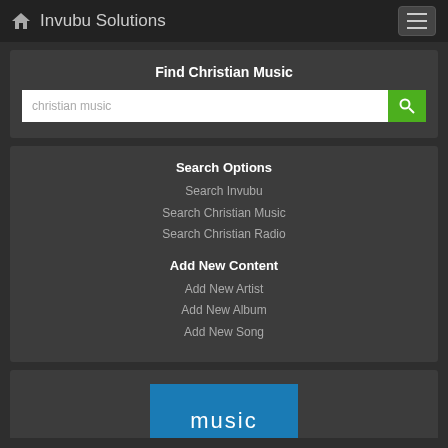Invubu Solutions
Find Christian Music
christian music
Search Options
Search Invubu
Search Christian Music
Search Christian Radio
Add New Content
Add New Artist
Add New Album
Add New Song
[Figure (screenshot): Music banner with blue background showing 'music' text in white]